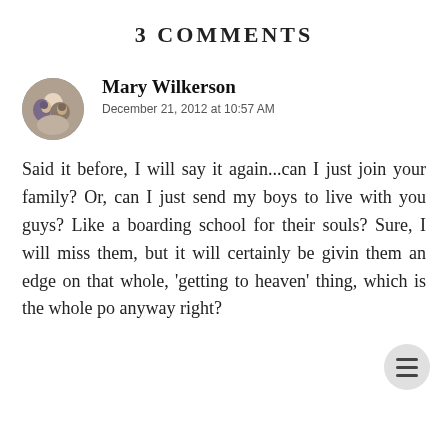3 COMMENTS
Mary Wilkerson
December 21, 2012 at 10:57 AM
Said it before, I will say it again...can I just join your family? Or, can I just send my boys to live with you guys? Like a boarding school for their souls? Sure, I will miss them, but it will certainly be givin them an edge on that whole, 'getting to heaven' thing, which is the whole po anyway right?